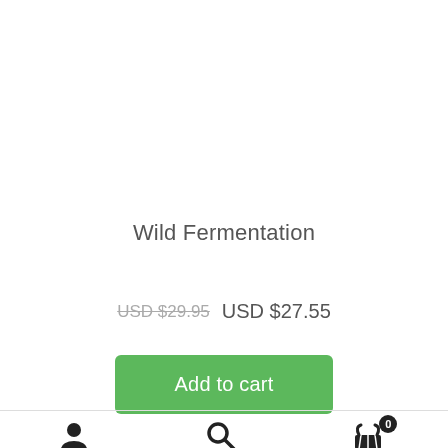Wild Fermentation
USD $29.95  USD $27.55
Add to cart
[Figure (infographic): Bottom navigation bar with user account icon, search icon, and shopping cart icon with badge showing 0]